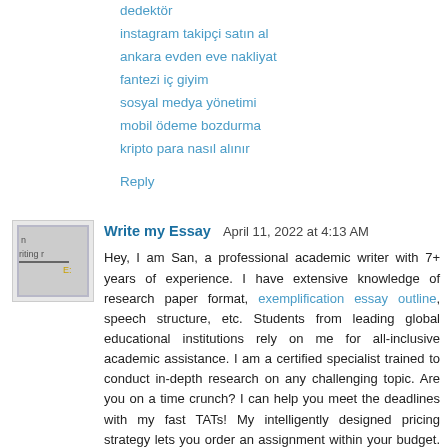dedektör
instagram takipçi satın al
ankara evden eve nakliyat
fantezi iç giyim
sosyal medya yönetimi
mobil ödeme bozdurma
kripto para nasıl alınır
Reply
Write my Essay   April 11, 2022 at 4:13 AM
Hey, I am San, a professional academic writer with 7+ years of experience. I have extensive knowledge of research paper format, exemplification essay outline, speech structure, etc. Students from leading global educational institutions rely on me for all-inclusive academic assistance. I am a certified specialist trained to conduct in-depth research on any challenging topic. Are you on a time crunch? I can help you meet the deadlines with my fast TATs! My intelligently designed pricing strategy lets you order an assignment within your budget. Stay assured of 100% unique and spotless papers that will